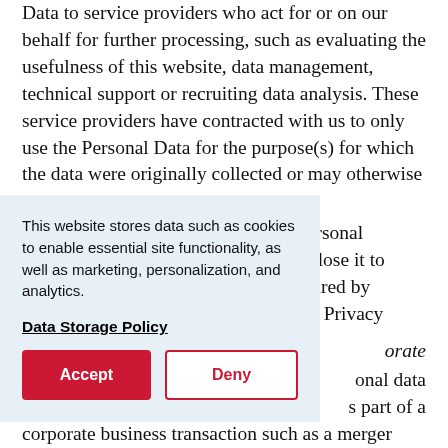Data to service providers who act for or on our behalf for further processing, such as evaluating the usefulness of this website, data management, technical support or recruiting data analysis. These service providers have contracted with us to only use the Personal Data for the purpose(s) for which the data were originally collected or may otherwise be fully processed to Personal Data disclose it to required by this Privacy
This website stores data such as cookies to enable essential site functionality, as well as marketing, personalization, and analytics.
Data Storage Policy
Accept
Deny
orate onal data s part of a corporate business transaction such as a merger